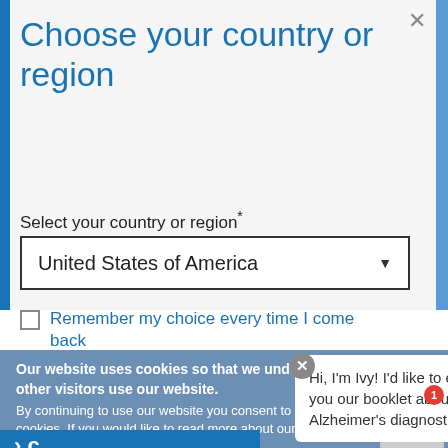Choose your country or region
Select your country or region *
United States of America
Remember my choice every time I come back
Our website uses cookies so that we understand how you and other visitors use our website.
By continuing to use our website you consent to the use of these cookies. If you would like to read more about our use of cookies and our >
Cookie Notice
Hi, I'm Ivy! I'd like to email you our booklet about Alzheimer's diagnostics.